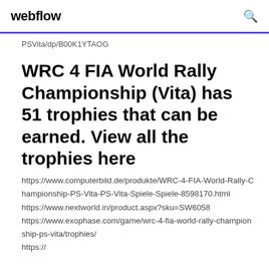webflow
PSVita/dp/B00K1YTAOG
WRC 4 FIA World Rally Championship (Vita) has 51 trophies that can be earned. View all the trophies here
https://www.computerbild.de/produkte/WRC-4-FIA-World-Rally-Championship-PS-Vita-PS-Vita-Spiele-Spiele-8598170.html
https://www.nextworld.in/product.aspx?sku=SW6058
https://www.exophase.com/game/wrc-4-fia-world-rally-championship-ps-vita/trophies/
https://